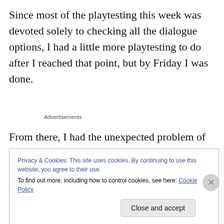Since most of the playtesting this week was devoted solely to checking all the dialogue options, I had a little more playtesting to do after I reached that point, but by Friday I was done.
Advertisements
From there, I had the unexpected problem of developing a page for the game on itch.io.  I've never released a game on the platform before, and so hadn't really thought about
Privacy & Cookies: This site uses cookies. By continuing to use this website, you agree to their use.
To find out more, including how to control cookies, see here: Cookie Policy